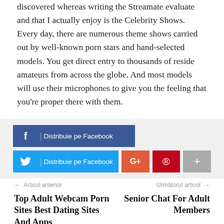discovered whereas writing the Streamate evaluate and that I actually enjoy is the Celebrity Shows. Every day, there are numerous theme shows carried out by well-known porn stars and hand-selected models. You get direct entry to thousands of reside amateurs from across the globe. And most models will use their microphones to give you the feeling that you’re proper there with them.
[Figure (infographic): Social share buttons: Facebook share button (dark blue), Twitter share button (blue), Google+ button (orange-red), Pinterest button (red), More button (grey)]
Articol anterior
Top Adult Webcam Porn Sites Best Dating Sites And Apps
Următorul articol
Senior Chat For Adult Members